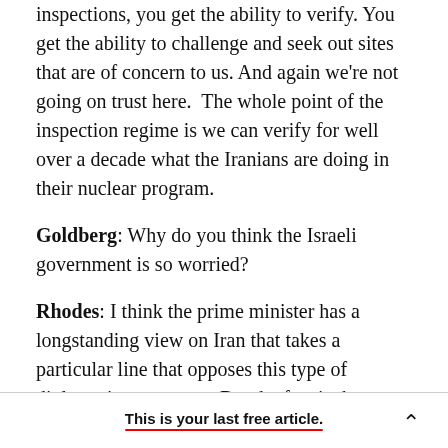inspections, you get the ability to verify. You get the ability to challenge and seek out sites that are of concern to us. And again we're not going on trust here. The whole point of the inspection regime is we can verify for well over a decade what the Iranians are doing in their nuclear program.
Goldberg: Why do you think the Israeli government is so worried?
Rhodes: I think the prime minister has a longstanding view on Iran that takes a particular line that opposes this type of diplomatic agreement. But the fact is the type of deal that he laid out today
This is your last free article.